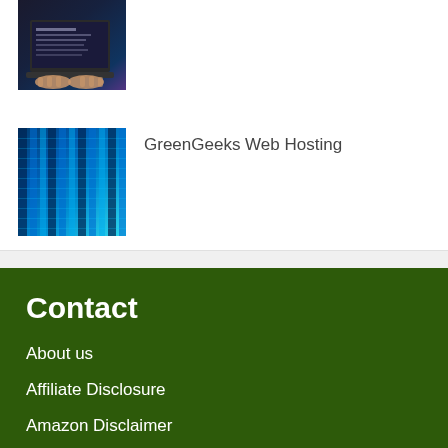[Figure (photo): Hands typing on a laptop, dark background with data/graphs visible on screen]
[Figure (photo): Server rack with glowing blue lights in a data center]
GreenGeeks Web Hosting
Contact
About us
Affiliate Disclosure
Amazon Disclaimer